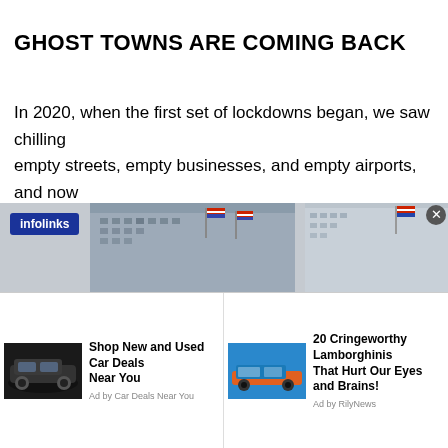GHOST TOWNS ARE COMING BACK
In 2020, when the first set of lockdowns began, we saw chilling empty streets, empty businesses, and empty airports, and now leaders, following Joe Biden's lead, are putting more people out businesses into bankruptcy and  more families into the foodban expect to see more of the images shown above and below, fro
[Figure (photo): Infolinks advertisement banner with two building/city photos showing empty streets with US flags]
[Figure (infographic): Two advertisement cards: 1) Shop New and Used Car Deals Near You - Ad by Car Deals Near You, with SUV image. 2) 20 Cringeworthy Lamborghinis That Hurt Our Eyes and Brains! - Ad by RilyNews, with Lamborghini image.]